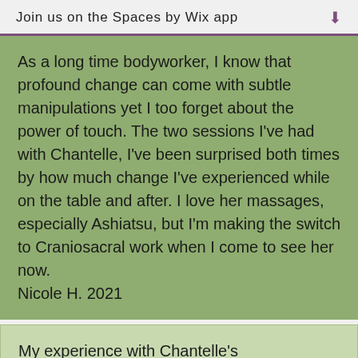Join us on the Spaces by Wix app
As a long time bodyworker, I know that profound change can come with subtle manipulations yet I too forget about the power of touch. The two sessions I've had with Chantelle, I've been surprised both times by how much change I've experienced while on the table and after. I love her massages, especially Ashiatsu, but I'm making the switch to Craniosacral work when I come to see her now.
Nicole H. 2021
My experience with Chantelle's transformative bodywork was amazing. Chantelle worked on specific areas aligned to what I needed. The cranial